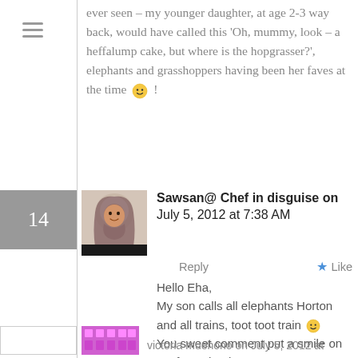ever seen – my younger daughter, at age 2-3 way back, would have called this 'Oh, mummy, look – a heffalump cake, but where is the hopgrasser?', elephants and grasshoppers having been her faves at the time 🙂 !
14
Sawsan@ Chef in disguise on July 5, 2012 at 7:38 AM
Reply
Like
Hello Eha,
My son calls all elephants Horton and all trains, toot toot train 🙂
You sweet comment put a smile on my face, thank you
victoria muehono on July 5, 2012 at